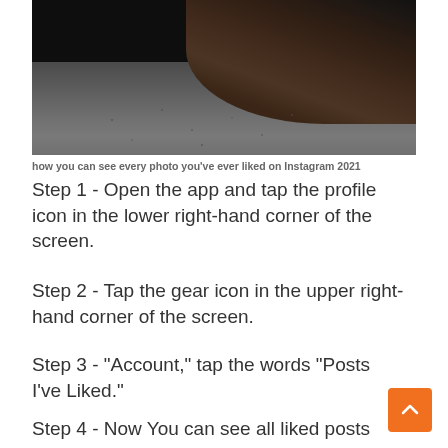[Figure (photo): Close-up photo of a dark hand holding or touching a speckled surface, dark background]
how you can see every photo you've ever liked on Instagram 2021
Step 1 - Open the app and tap the profile icon in the lower right-hand corner of the screen.
Step 2 - Tap the gear icon in the upper right-hand corner of the screen.
Step 3 - "Account," tap the words "Posts I've Liked."
Step 4 - Now You can see all liked posts